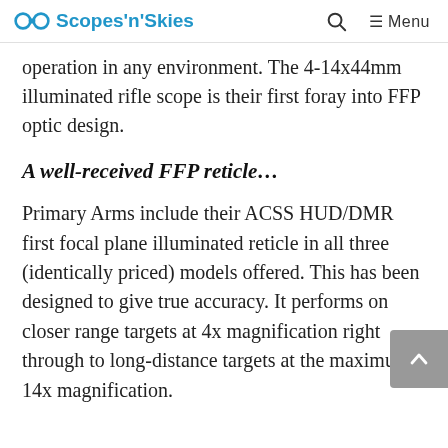Scopes'n'Skies
operation in any environment. The 4-14x44mm illuminated rifle scope is their first foray into FFP optic design.
A well-received FFP reticle…
Primary Arms include their ACSS HUD/DMR first focal plane illuminated reticle in all three (identically priced) models offered. This has been designed to give true accuracy. It performs on closer range targets at 4x magnification right through to long-distance targets at the maximum 14x magnification.